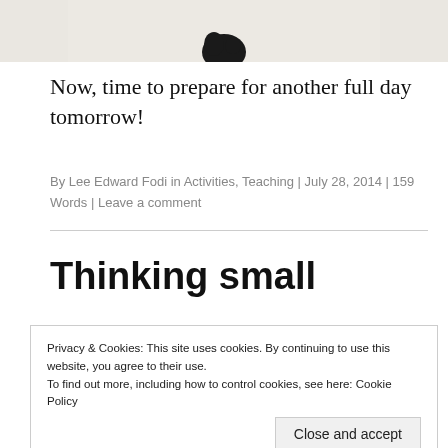[Figure (photo): Top portion of an image showing a black ink blob or figure on a light/cream background, cropped at top of page]
Now, time to prepare for another full day tomorrow!
By Lee Edward Fodi in Activities, Teaching | July 28, 2014 | 159 Words | Leave a comment
Thinking small
Privacy & Cookies: This site uses cookies. By continuing to use this website, you agree to their use.
To find out more, including how to control cookies, see here: Cookie Policy
Close and accept
versions of ourselves and then writing a short